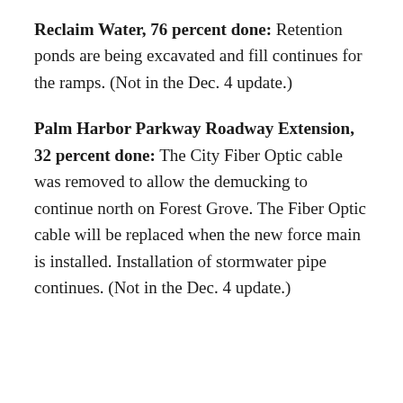Reclaim Water, 76 percent done: Retention ponds are being excavated and fill continues for the ramps. (Not in the Dec. 4 update.)
Palm Harbor Parkway Roadway Extension, 32 percent done: The City Fiber Optic cable was removed to allow the demucking to continue north on Forest Grove. The Fiber Optic cable will be replaced when the new force main is installed. Installation of stormwater pipe continues. (Not in the Dec. 4 update.)